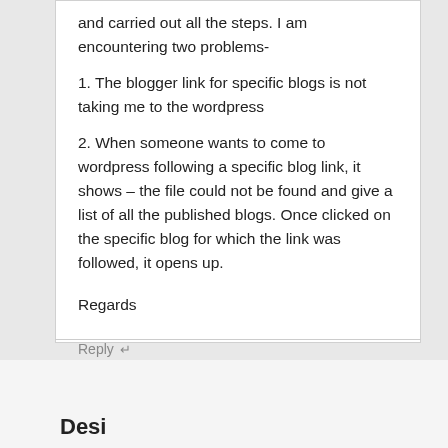and carried out all the steps. I am encountering two problems-
1. The blogger link for specific blogs is not taking me to the wordpress
2. When someone wants to come to wordpress following a specific blog link, it shows – the file could not be found and give a list of all the published blogs. Once clicked on the specific blog for which the link was followed, it opens up.
Regards
Reply ↵
Desi